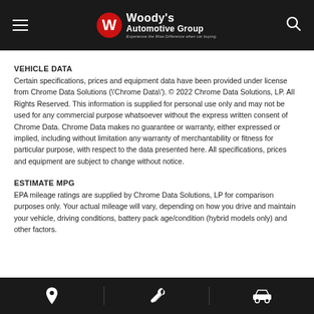Woody's Automotive Group — Experience the Wow Difference when car buying.
VEHICLE DATA
Certain specifications, prices and equipment data have been provided under license from Chrome Data Solutions (\'Chrome Data\'). © 2022 Chrome Data Solutions, LP. All Rights Reserved. This information is supplied for personal use only and may not be used for any commercial purpose whatsoever without the express written consent of Chrome Data. Chrome Data makes no guarantee or warranty, either expressed or implied, including without limitation any warranty of merchantability or fitness for particular purpose, with respect to the data presented here. All specifications, prices and equipment are subject to change without notice.
ESTIMATE MPG
EPA mileage ratings are supplied by Chrome Data Solutions, LP for comparison purposes only. Your actual mileage will vary, depending on how you drive and maintain your vehicle, driving conditions, battery pack age/condition (hybrid models only) and other factors.
[location icon] [wrench icon] [car icon]